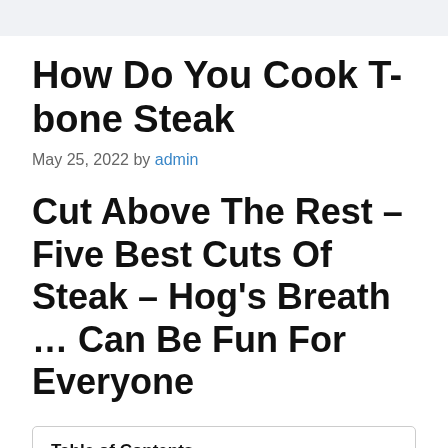How Do You Cook T-bone Steak
May 25, 2022 by admin
Cut Above The Rest – Five Best Cuts Of Steak – Hog's Breath … Can Be Fun For Everyone
| Table of Contents |
| --- |
| The Reason What Is The Best Cut... |